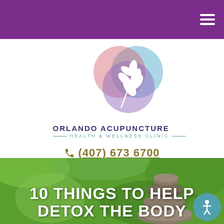Navigation header bar with hamburger menu
[Figure (logo): Orlando Acupuncture Health & Wellness Clinic logo with overlapping colored circles and white leaf design]
ORLANDO ACUPUNCTURE
— HEALTH & WELLNESS CLINIC —
(407) 673 6700
[Figure (photo): Stacked zen stones on green foliage background]
10 THINGS TO HELP DETOX THE BODY